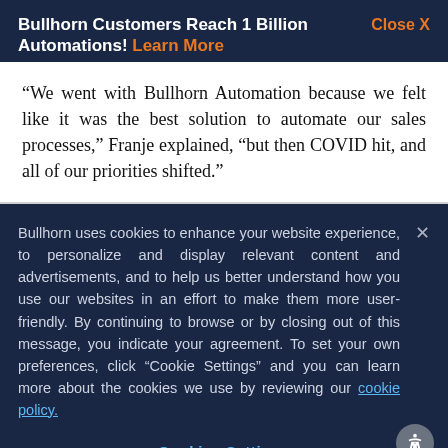Bullhorn Customers Reach 1 Billion Automations! Learn More   Close X
“We went with Bullhorn Automation because we felt like it was the best solution to automate our sales processes,” Franje explained, “but then COVID hit, and all of our priorities shifted.”
Bullhorn uses cookies to enhance your website experience, to personalize and display relevant content and advertisements, and to help us better understand how you use our websites in an effort to make them more user-friendly. By continuing to browse or by closing out of this message, you indicate your agreement. To set your own preferences, click “Cookie Settings” and you can learn more about the cookies we use by reviewing our cookie policy.
Cookies Settings